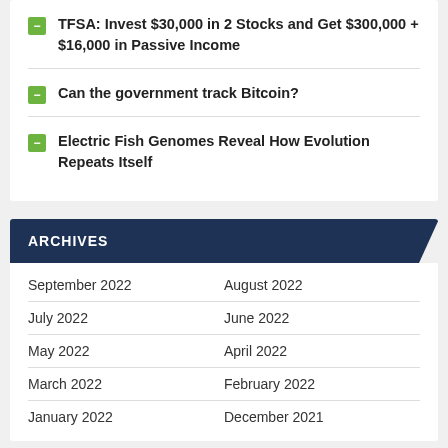TFSA: Invest $30,000 in 2 Stocks and Get $300,000 + $16,000 in Passive Income
Can the government track Bitcoin?
Electric Fish Genomes Reveal How Evolution Repeats Itself
ARCHIVES
September 2022   August 2022
July 2022   June 2022
May 2022   April 2022
March 2022   February 2022
January 2022   December 2021